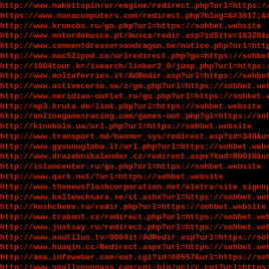http://www.makeitspin/ur/engine/redirect.php?url=https://soh
https://www.manacomputers.com/redirect.php?blog=&#3617;&#36
http://www.kroncbs.ru/go.php?url=https://sohbet.website
http://www.motordebusca.pt/busca/redir.asp?idSite=18328&url
http://www.commentdressersondragon.be/notice.php?url=https:
http://www.mac52ipod.cn/urlredirect.php?go=https://sohbet.w
http://1004tour.kr/isearch/linker2_0/jump.php?url=https://s
http://www.eolieferries.it/AdRedir.asp?url=https://sohbet.w
http://www.activecorso.se/z/go.php?url=https://sohbet.websi
http://www.meridian-outlet.ru/go.php?url=https://sohbet.web
http://mp3.kruta.de/link.php?url=https://sohbet.website
http://onlinegamesracing.com/games-out.php?gl=https://sohbe
http://kinokolo.ua/url.php?url=https://sohbet.website
http://www.transport.md/banner_sys/redirect.asp?id=348&url=
http://www.gyvunugloba.lt/url.php?url=https://sohbet.websit
http://www.drazebnikalendar.cz/redirect.aspx?kod=R0018&url=
http://islamcenter.ru/go.php?url=https://sohbet.website
http://www.qark.net/?url=https://sohbet.website
http://www.thenewsflashcorporation.net/eletra/site_signup_t
http://www.kalleochsara.se/ct.ashx?url=https://sohbet.websi
http://koshcheev.ru/redir.php?url=https://sohbet.website
http://www.trabant.cz/redirect.php?url=https://sohbet.websi
http://www.justsay.ru/redirect.php?url=https://sohbet.websi
http://www.nautilus.tv/0004it/AdRedir.asp?url=https://sohbe
http://www.huaqin.cc/Redirect.aspx?url=https://sohbet.websi
http://ama.infoweber.com/out.cgi?id=00557&url=https://sohbe
http://www.smallyoungass.com/cgi-bin/ucj/c.cgi?url=https://
http://all1.co.il/goto.php?url=https://sohbet.website
http://www.stopdemand.org/ra.asp?url=https://sohbet.website
http://1000love.net/lovelove/link.php?url=https://sohbet.we